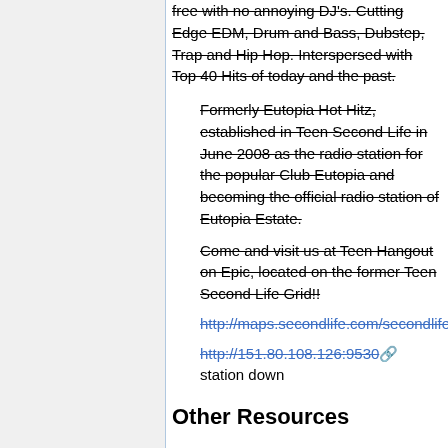free with no annoying DJ's. Cutting Edge EDM, Drum and Bass, Dubstep, Trap and Hip Hop. Interspersed with Top 40 Hits of today and the past.
Formerly Eutopia Hot Hitz, established in Teen Second Life in June 2008 as the radio station for the popular Club Eutopia and becoming the official radio station of Eutopia Estate.
Come and visit us at Teen Hangout on Epic, located on the former Teen Second Life Grid!!
http://maps.secondlife.com/secondlife/Epic/71/218/22
http://151.80.108.126:9530 station down
Other Resources